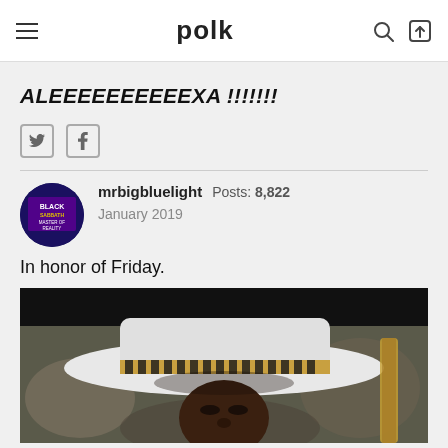polk
ALEEEEEEEEEEXA !!!!!!!
mrbigbluelight  Posts: 8,822  January 2019
In honor of Friday.
[Figure (photo): Close-up photo of a person wearing a white hat with a black and tan woven band, partially visible from chin up, with blurred people in the background and what appears to be a guitar neck visible on the right side.]